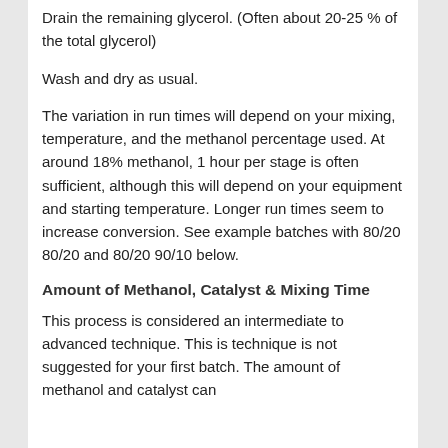Drain the remaining glycerol. (Often about 20-25 % of the total glycerol)
Wash and dry as usual.
The variation in run times will depend on your mixing, temperature, and the methanol percentage used. At around 18% methanol, 1 hour per stage is often sufficient, although this will depend on your equipment and starting temperature. Longer run times seem to increase conversion. See example batches with 80/20 80/20 and 80/20 90/10 below.
Amount of Methanol, Catalyst & Mixing Time
This process is considered an intermediate to advanced technique. This is technique is not suggested for your first batch. The amount of methanol and catalyst can